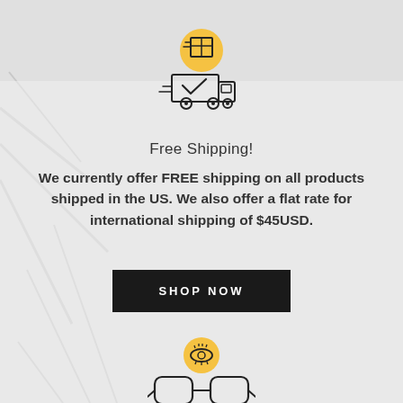[Figure (illustration): Delivery truck icon with a package on top. The package sits on an orange/yellow circle. The truck has a checkmark on its side and speed lines indicating motion.]
Free Shipping!
We currently offer FREE shipping on all products shipped in the US. We also offer a flat rate for international shipping of $45USD.
[Figure (illustration): SHOP NOW button — dark/black rectangular button with white uppercase text reading SHOP NOW.]
[Figure (illustration): Eyeglasses icon with an eye/vision symbol inside an orange/yellow circle above it.]